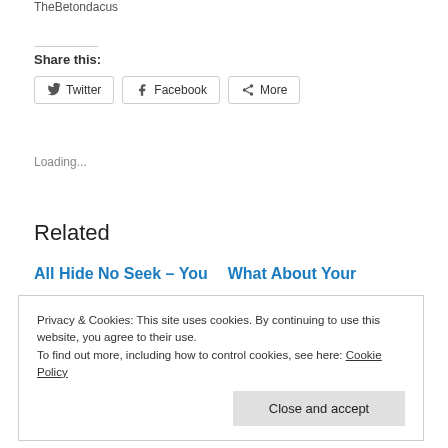TheBetondacus
Share this:
Twitter  Facebook  More
Loading...
Related
All Hide No Seek – You    What About Your
Privacy & Cookies: This site uses cookies. By continuing to use this website, you agree to their use.
To find out more, including how to control cookies, see here: Cookie Policy
Close and accept
In "Budgeting"